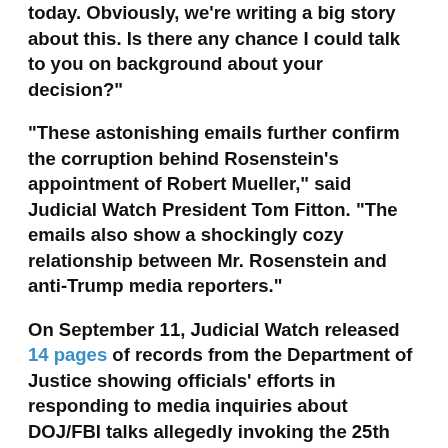today. Obviously, we’re writing a big story about this. Is there any chance I could talk to you on background about your decision?”
“These astonishing emails further confirm the corruption behind Rosenstein’s appointment of Robert Mueller,” said Judicial Watch President Tom Fitton. “The emails also show a shockingly cozy relationship between Mr. Rosenstein and anti-Trump media reporters.”
On September 11, Judicial Watch released 14 pages of records from the Department of Justice showing officials’ efforts in responding to media inquiries about DOJ/FBI talks allegedly invoking the 25th Amendment to “remove” President Donald Trump from office and former Deputy Attorney General Rod Rosenstein offering to wear a “wire” to record his conversations with the president.
On September 23, Judicial Watch released a